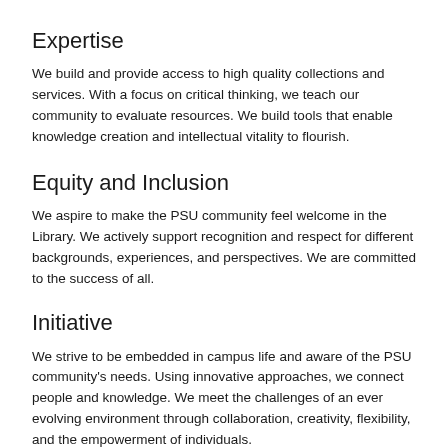Expertise
We build and provide access to high quality collections and services. With a focus on critical thinking, we teach our community to evaluate resources. We build tools that enable knowledge creation and intellectual vitality to flourish.
Equity and Inclusion
We aspire to make the PSU community feel welcome in the Library. We actively support recognition and respect for different backgrounds, experiences, and perspectives. We are committed to the success of all.
Initiative
We strive to be embedded in campus life and aware of the PSU community's needs. Using innovative approaches, we connect people and knowledge. We meet the challenges of an ever evolving environment through collaboration, creativity, flexibility, and the empowerment of individuals.